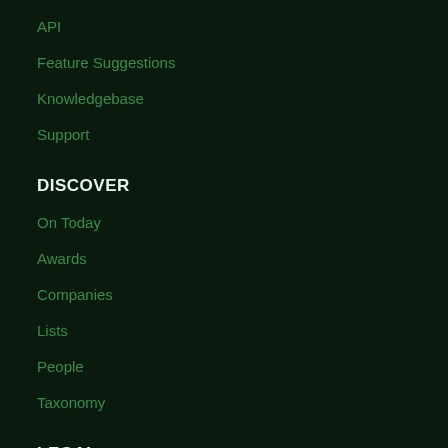API
Feature Suggestions
Knowledgebase
Support
DISCOVER
On Today
Awards
Companies
Lists
People
Taxonomy
LEGAL
Terms of Service
Privacy Policy
DMCA